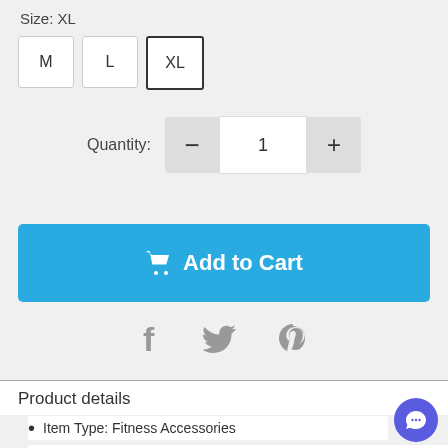Size: XL
M  L  XL
Quantity: 1
Add to Cart
[Figure (infographic): Social sharing icons: Facebook (f), Twitter (bird), Pinterest (P)]
Product details
Item Type: Fitness Accessories
Material: Microfiber, Silicone